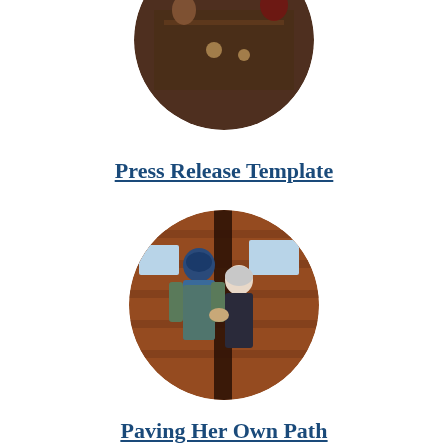[Figure (photo): Circular cropped photo showing people seated around a dark table with items on it, partially visible at top of page]
Press Release Template
[Figure (photo): Circular cropped photo showing two people in a barn or stable setting, one wearing a blue cap and vest, the other with white/gray hair, interacting with something between them]
Paving Her Own Path
[Figure (photo): Circular cropped photo showing what appears to be dried plant material or straw against a blue sky, partially visible at bottom of page]